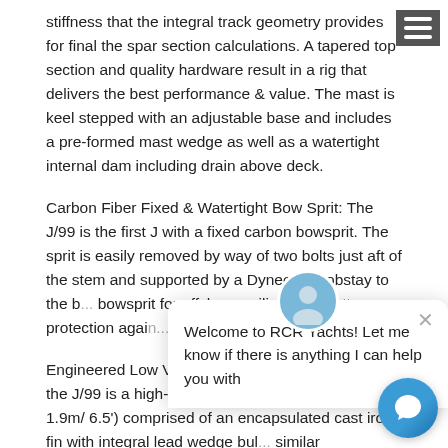stiffness that the integral track geometry provides for final the spar section calculations. A tapered top section and quality hardware result in a rig that delivers the best performance & value. The mast is keel stepped with an adjustable base and includes a pre-formed mast wedge as well as a watertight internal dam including drain above deck.
Carbon Fiber Fixed & Watertight Bow Sprit: The J/99 is the first J with a fixed carbon bowsprit. The sprit is easily removed by way of two bolts just aft of the stem and supported by a Dyneema bobstay to the b... bowsprit for offshore salin... and better protection again...
Engineered Low VCG Keel: The low VCG keel of the J/99 is a high-tech two-metal keel (draft of 1.9m/ 6.5') comprised of an encapsulated cast iron fin with integral lead wedge bul... similar construction method as the J/112E and J/121. This keel...
[Figure (other): Chat widget overlay with avatar photo of a person, a close (X) button, and welcome message: 'Welcome to RCR Yachts! Let me know if there is anything I can help you with']
[Figure (other): Blue circular chat bubble button in bottom right corner]
[Figure (other): Hamburger menu icon (three horizontal white lines on dark gray background) in top right corner]